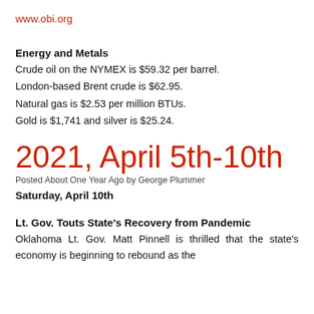www.obi.org
Energy and Metals
Crude oil on the NYMEX is $59.32 per barrel.
London-based Brent crude is $62.95.
Natural gas is $2.53 per million BTUs.
Gold is $1,741 and silver is $25.24.
2021, April 5th-10th
Posted About One Year Ago by George Plummer
Saturday, April 10th
Lt. Gov. Touts State's Recovery from Pandemic
Oklahoma Lt. Gov. Matt Pinnell is thrilled that the state's economy is beginning to rebound as the